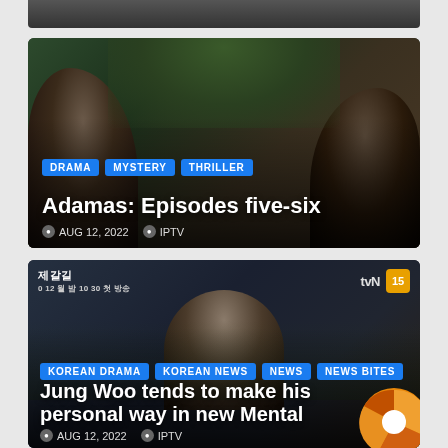[Figure (screenshot): Partial bottom of first article image (cropped at top)]
[Figure (photo): Article card for 'Adamas: Episodes five-six' with tags DRAMA, MYSTERY, THRILLER, dated AUG 12, 2022, by IPTV. Shows three people in a dark outdoor scene.]
[Figure (photo): Article card for 'Jung Woo tends to make his personal way in new Mental' with tags KOREAN DRAMA, KOREAN NEWS, NEWS, NEWS BITES, dated AUG 12, 2022, by IPTV. tvN drama preview screenshot with 15 age badge. Donut/pie chart overlay in bottom right corner.]